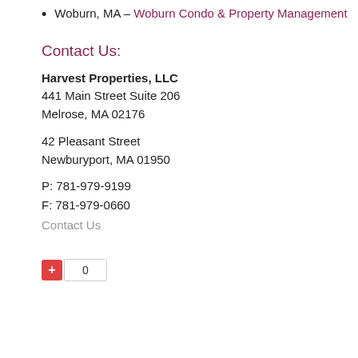Woburn, MA – Woburn Condo & Property Management
Contact Us:
Harvest Properties, LLC
441 Main Street Suite 206
Melrose, MA 02176
42 Pleasant Street
Newburyport, MA 01950
P: 781-979-9199
F: 781-979-0660
Contact Us
[Figure (other): A red plus button with a count box showing 0]